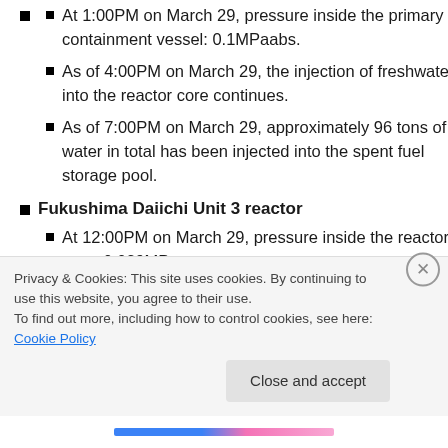At 1:00PM on March 29, pressure inside the primary containment vessel: 0.1MPaabs.
As of 4:00PM on March 29, the injection of freshwater into the reactor core continues.
As of 7:00PM on March 29, approximately 96 tons of water in total has been injected into the spent fuel storage pool.
Fukushima Daiichi Unit 3 reactor
At 12:00PM on March 29, pressure inside the reactor core: 0.029MPa.
At 12:00PM on March 29, water level inside the
Privacy & Cookies: This site uses cookies. By continuing to use this website, you agree to their use.
To find out more, including how to control cookies, see here: Cookie Policy